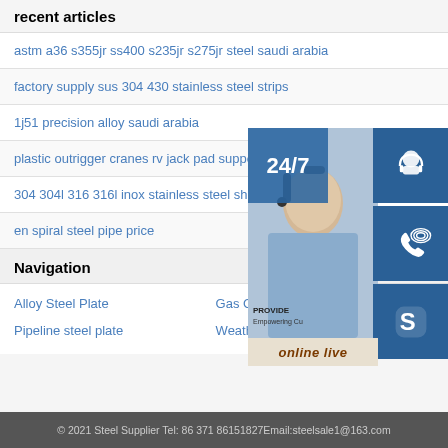recent articles
astm a36 s355jr ss400 s235jr s275jr steel saudi arabia
factory supply sus 304 430 stainless steel strips
1j51 precision alloy saudi arabia
plastic outrigger cranes rv jack pad support block
304 304l 316 316l inox stainless steel sheet pla
en spiral steel pipe price
[Figure (photo): Customer support representative with headset, overlaid with 24/7 badge, contact icons (headset, phone, Skype), and online live button]
Navigation
Alloy Steel Plate
Gas Cylinder Steel coil
Pipeline steel plate
Weather Resistant Steel Plate
© 2021 Steel Supplier Tel: 86 371 86151827Email:steelsale1@163.com